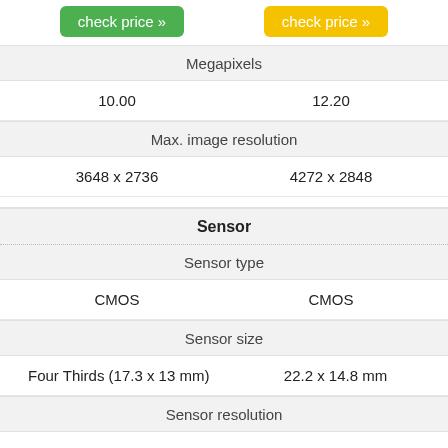|  |  |
| --- | --- |
| check price » | check price » |
| Megapixels |  |
| 10.00 | 12.20 |
| Max. image resolution |  |
| 3648 x 2736 | 4272 x 2848 |
| Sensor |  |
| Sensor type |  |
| CMOS | CMOS |
| Sensor size |  |
| Four Thirds (17.3 x 13 mm) | 22.2 x 14.8 mm |
| Sensor resolution |  |